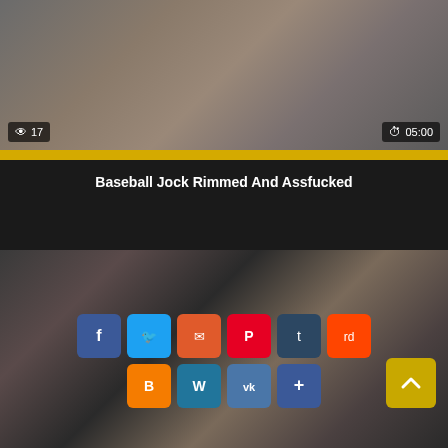[Figure (screenshot): Video thumbnail showing two people, with view count badge '17' on left and duration '05:00' on right]
Baseball Jock Rimmed And Assfucked
[Figure (screenshot): Second video thumbnail showing multiple people in a dark room setting, with social sharing buttons overlay including Facebook, Twitter, Email, Pinterest, Tumblr, Reddit, Blogger, WordPress, VK, and a More button, plus a scroll-to-top button]